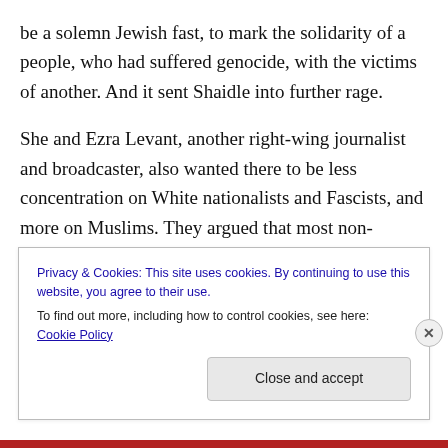be a solemn Jewish fast, to mark the solidarity of a people, who had suffered genocide, with the victims of another. And it sent Shaidle into further rage.
She and Ezra Levant, another right-wing journalist and broadcaster, also wanted there to be less concentration on White nationalists and Fascists, and more on Muslims. They argued that most non-Muslim Canadians were thoroughly decent people – which I've no doubt whatsoever is true – and that the Nazis in Canada had always been a tiny handful. The real threat, they said,
Privacy & Cookies: This site uses cookies. By continuing to use this website, you agree to their use.
To find out more, including how to control cookies, see here: Cookie Policy
Close and accept